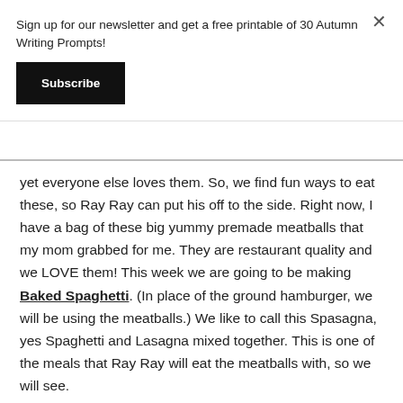Sign up for our newsletter and get a free printable of 30 Autumn Writing Prompts!
Subscribe
yet everyone else loves them. So, we find fun ways to eat these, so Ray Ray can put his off to the side. Right now, I have a bag of these big yummy premade meatballs that my mom grabbed for me. They are restaurant quality and we LOVE them! This week we are going to be making Baked Spaghetti. (In place of the ground hamburger, we will be using the meatballs.) We like to call this Spasagna, yes Spaghetti and Lasagna mixed together. This is one of the meals that Ray Ray will eat the meatballs with, so we will see.